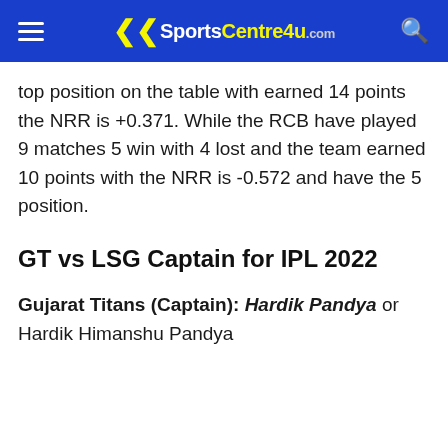SportsCentre4u.com
top position on the table with earned 14 points the NRR is +0.371. While the RCB have played 9 matches 5 win with 4 lost and the team earned 10 points with the NRR is -0.572 and have the 5 position.
GT vs LSG Captain for IPL 2022
Gujarat Titans (Captain): Hardik Pandya or Hardik Himanshu Pandya